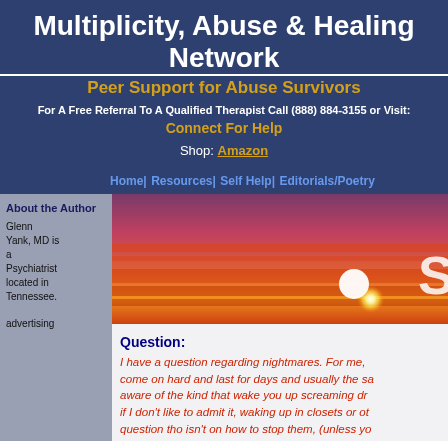Multiplicity, Abuse & Healing Network
Peer Support for Abuse Survivors
For A Free Referral To A Qualified Therapist Call (888) 884-3155 or Visit:
Connect For Help
Shop: Amazon
Home| Resources| Self Help| Editorials/Poetry
About the Author
Glenn Yank, MD is a Psychiatrist located in Tennessee.
advertising
[Figure (photo): Sunset image with red and orange sky with bright light on the horizon]
Question:
I have a question regarding nightmares. For me, come on hard and last for days and usually the sa aware of the kind that wake you up screaming dr if I don't like to admit it, waking up in closets or ot question tho isn't on how to stop them, (unless yo